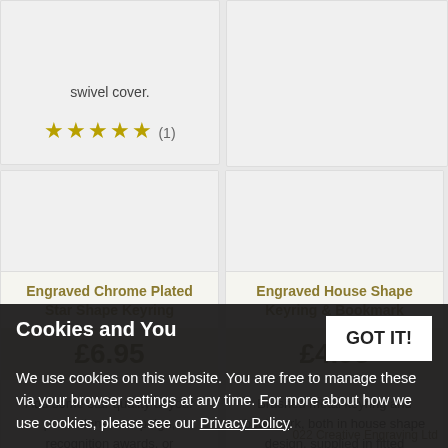swivel cover.
★★★★★ (1)
Engraved Chrome Plated Star Shape Keyring
£6.95
Add some star quality to your promotional campaign, recognition awards, or personalised gifts....
★★★★½ (4)
Engraved House Shape Keyring & Bookmark
£4.95
Brushed metal keyring and bookmark, both in house shape design, supplied in fitted presentation box.
Cookies and You
We use cookies on this website. You are free to manage these via your browser settings at any time. For more about how we use cookies, please see our Privacy Policy.
2022 Creative Engraving Ltd